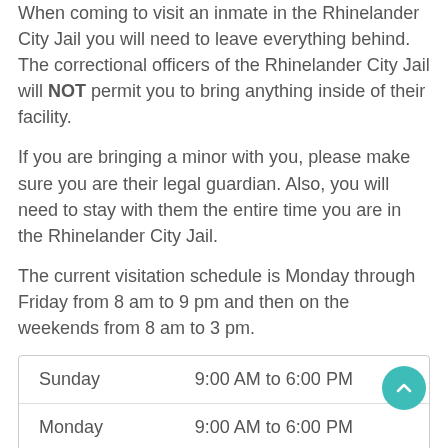When coming to visit an inmate in the Rhinelander City Jail you will need to leave everything behind. The correctional officers of the Rhinelander City Jail will NOT permit you to bring anything inside of their facility.
If you are bringing a minor with you, please make sure you are their legal guardian. Also, you will need to stay with them the entire time you are in the Rhinelander City Jail.
The current visitation schedule is Monday through Friday from 8 am to 9 pm and then on the weekends from 8 am to 3 pm.
| Sunday | 9:00 AM to 6:00 PM |
| Monday | 9:00 AM to 6:00 PM |
| Tuesday | 9:00 AM to 6:00 PM |